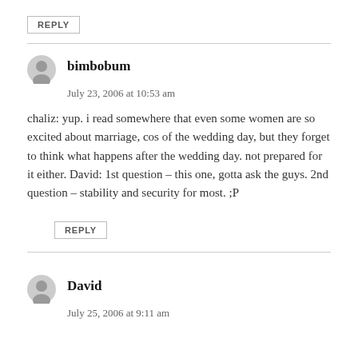REPLY
bimbobum
July 23, 2006 at 10:53 am

chaliz: yup. i read somewhere that even some women are so excited about marriage, cos of the wedding day, but they forget to think what happens after the wedding day. not prepared for it either. David: 1st question – this one, gotta ask the guys. 2nd question – stability and security for most. ;P
REPLY
David
July 25, 2006 at 9:11 am